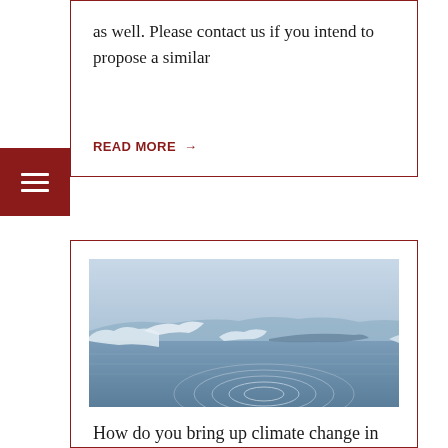as well. Please contact us if you intend to propose a similar
READ MORE →
[Figure (photo): Photograph of an icy lake or glacial lagoon with icebergs floating in calm water, circular ripples in the foreground, misty mountains in the background, overcast sky with soft blue-grey tones.]
How do you bring up climate change in church?